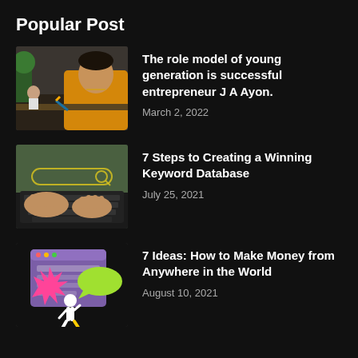Popular Post
[Figure (photo): Young man in orange shirt sitting at office desk, selfie-style photo]
The role model of young generation is successful entrepreneur J A Ayon.
March 2, 2022
[Figure (photo): Hands typing on a laptop keyboard with glowing search bar overlay]
7 Steps to Creating a Winning Keyword Database
July 25, 2021
[Figure (illustration): Colorful illustration of person walking with browser window and speech bubbles]
7 Ideas: How to Make Money from Anywhere in the World
August 10, 2021
Random Post Today